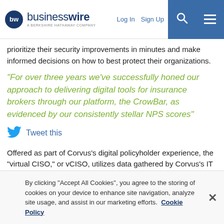businesswire — A BERKSHIRE HATHAWAY COMPANY | Log In | Sign Up
prioritize their security improvements in minutes and make informed decisions on how to best protect their organizations.
“For over three years we’ve successfully honed our approach to delivering digital tools for insurance brokers through our platform, the CrowBar, as evidenced by our consistently stellar NPS scores”
Tweet this
Offered as part of Corvus’s digital policyholder experience, the “virtual CISO,” or vCISO, utilizes data gathered by Corvus’s IT security scan, which analyzes the policyholder’s public-facing web
By clicking “Accept All Cookies”, you agree to the storing of cookies on your device to enhance site navigation, analyze site usage, and assist in our marketing efforts. Cookie Policy